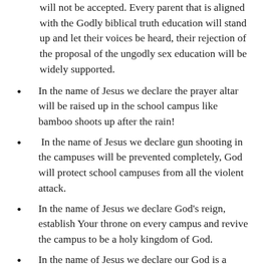will not be accepted. Every parent that is aligned with the Godly biblical truth education will stand up and let their voices be heard, their rejection of the proposal of the ungodly sex education will be widely supported.
In the name of Jesus we declare the prayer altar will be raised up in the school campus like bamboo shoots up after the rain!
In the name of Jesus we declare gun shooting in the campuses will be prevented completely, God will protect school campuses from all the violent attack.
In the name of Jesus we declare God’s reign, establish Your throne on every campus and revive the campus to be a holy kingdom of God.
In the name of Jesus we declare our God is a victorious King, the captain of our host. He will listen to our prayer of agreement and will personally lead angel Michael and His hosts of angels, to win this battle for our next generation and to cancel the sex education of